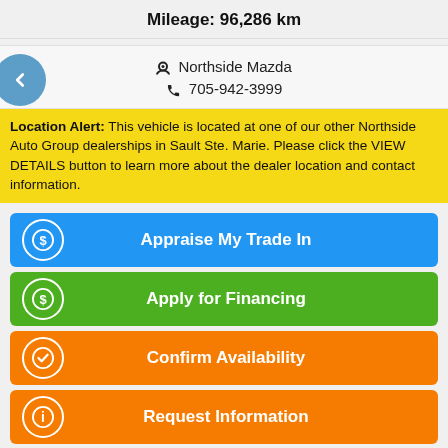Mileage:  96,286 km
Northside Mazda
705-942-3999
Location Alert: This vehicle is located at one of our other Northside Auto Group dealerships in Sault Ste. Marie. Please click the VIEW DETAILS button to learn more about the dealer location and contact information.
Appraise My Trade In
Apply for Financing
Confirm Availability
Request Information
| Body Style: | SUV |
| Engine: | 2.5L  6cyl |